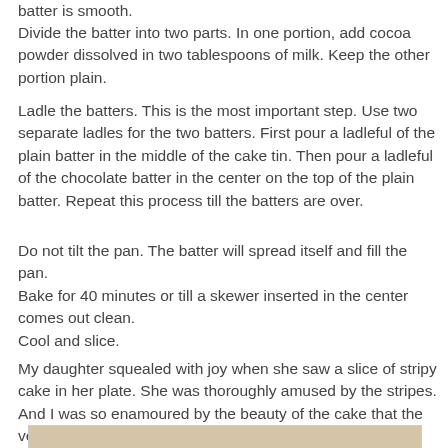batter is smooth.
Divide the batter into two parts. In one portion, add cocoa powder dissolved in two tablespoons of milk. Keep the other portion plain.
Ladle the batters. This is the most important step. Use two separate ladles for the two batters. First pour a ladleful of the plain batter in the middle of the cake tin. Then pour a ladleful of the chocolate batter in the center on the top of the plain batter. Repeat this process till the batters are over.
Do not tilt the pan. The batter will spread itself and fill the pan.
Bake for 40 minutes or till a skewer inserted in the center comes out clean.
Cool and slice.
My daughter squealed with joy when she saw a slice of stripy cake in her plate. She was thoroughly amused by the stripes. And I was so enamoured by the beauty of the cake that the very next day I made the egg less version keeping in my mind my parents.
[Figure (photo): Partial view of a stripy marble cake]